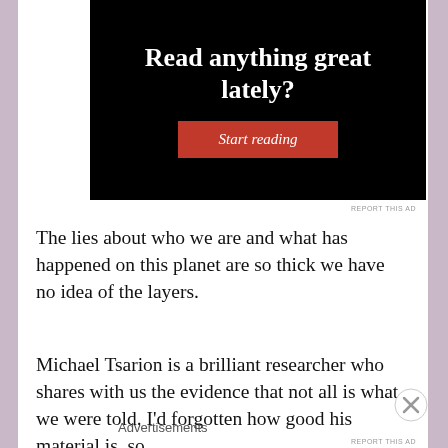[Figure (screenshot): Advertisement banner with black background showing text 'Read anything great lately?' and a red 'Start reading' button]
REPORT THIS AD
The lies about who we are and what has happened on this planet are so thick we have no idea of the layers.
Michael Tsarion is a brilliant researcher who shares with us the evidence that not all is what we were told. I'd forgotten how good his material is, so
Advertisements
REPORT THIS AD